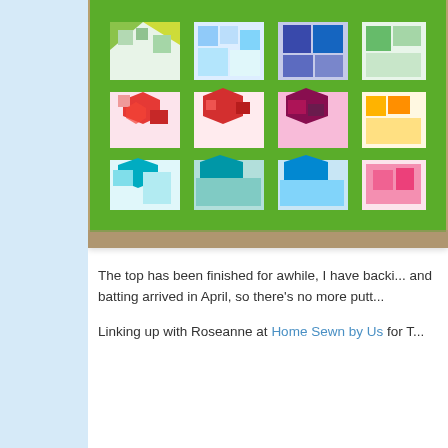[Figure (photo): A colorful patchwork quilt with green borders, featuring geometric hexagon/diamond patterns in various colors including blue, red, teal, pink, and multicolored fabrics, laid out on a tan/brown carpet.]
The top has been finished for awhile, I have backi... and batting arrived in April, so there's no more putt...
Linking up with Roseanne at Home Sewn by Us for T...